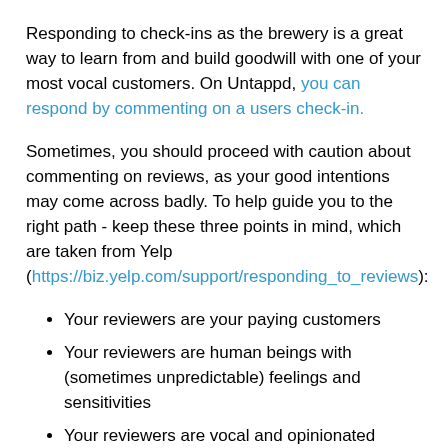Responding to check-ins as the brewery is a great way to learn from and build goodwill with one of your most vocal customers. On Untappd, you can respond by commenting on a users check-in.
Sometimes, you should proceed with caution about commenting on reviews, as your good intentions may come across badly. To help guide you to the right path - keep these three points in mind, which are taken from Yelp (https://biz.yelp.com/support/responding_to_reviews):
Your reviewers are your paying customers
Your reviewers are human beings with (sometimes unpredictable) feelings and sensitivities
Your reviewers are vocal and opinionated (otherwise they would not be writing reviews!)
Keeping these three things in mind should help you make